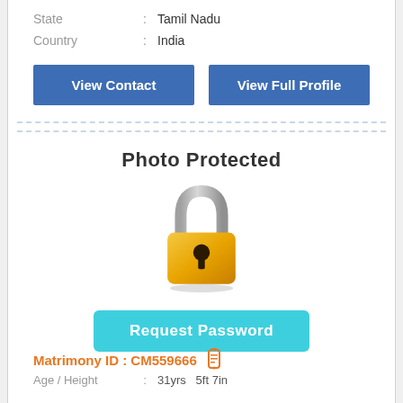State : Tamil Nadu
Country : India
View Contact
View Full Profile
Photo Protected
[Figure (illustration): A padlock icon with a grey shackle on top and a golden/yellow body with a keyhole in the center, sitting on a shadow base.]
Request Password
Matrimony ID : CM559666
Age / Height : 31yrs  5ft 7in